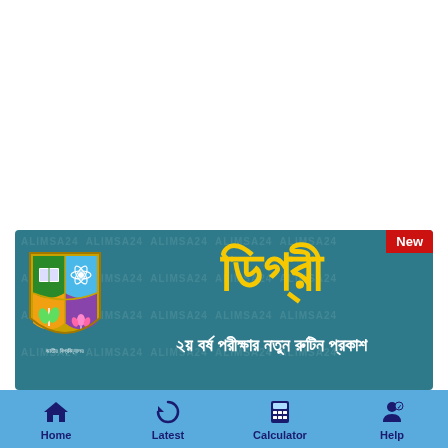[Figure (screenshot): Mobile app screenshot showing a teal/dark cyan banner with a university crest logo on the left, large yellow Bengali text reading 'ডিগ্রী' (Degree) in the center-right, white Bengali subtitle text '২য় বর্ষ পরীক্ষার নতুন রুটিন প্রকাশ' (2nd Year Exam New Routine Published) below, a red 'New' badge in the top-right corner, and a light blue navigation bar at the bottom with Home, Latest, Calculator, and Help icons.]
Home  Latest  Calculator  Help